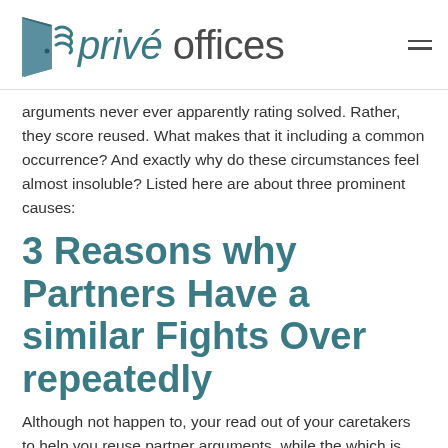privé offices
arguments never ever apparently rating solved. Rather, they score reused. What makes that it including a common occurrence? And exactly why do these circumstances feel almost insoluble? Listed here are about three prominent causes:
3 Reasons why Partners Have a similar Fights Over repeatedly
Although not happen to, your read out of your caretakers to help you reuse partner arguments, while the which is precisely what it performed. When